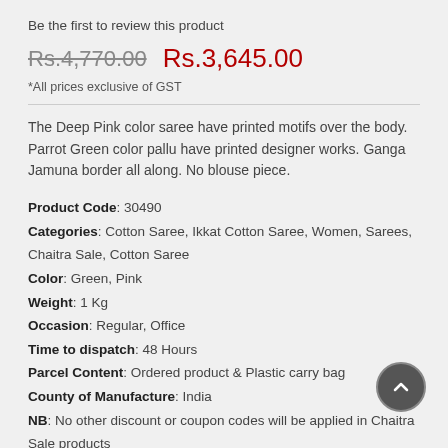Be the first to review this product
Rs.4,770.00  Rs.3,645.00
*All prices exclusive of GST
The Deep Pink color saree have printed motifs over the body. Parrot Green color pallu have printed designer works. Ganga Jamuna border all along. No blouse piece.
Product Code: 30490
Categories: Cotton Saree, Ikkat Cotton Saree, Women, Sarees, Chaitra Sale, Cotton Saree
Color: Green, Pink
Weight: 1 Kg
Occasion: Regular, Office
Time to dispatch: 48 Hours
Parcel Content: Ordered product & Plastic carry bag
County of Manufacture: India
NB: No other discount or coupon codes will be applied in Chaitra Sale products